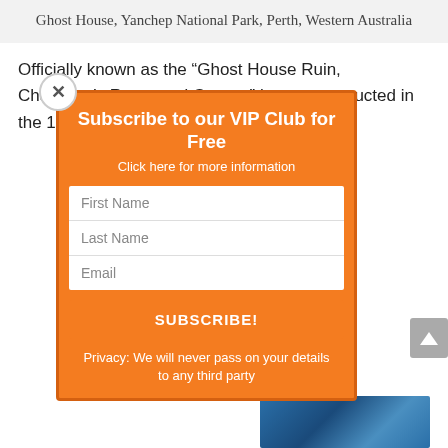Ghost House, Yanchep National Park, Perth, Western Australia
Officially known as the “Ghost House Ruin, Chauffeur’s Room and Garage” it was constructed in the 1930’s by L. E. Shapcott, ...ffice, as a holiday ...le via a 4WD ...t someone back ...holiday home in ...have a ...e built there too! ...why it is called
[Figure (screenshot): VIP Club subscription popup modal with orange background, close button, title 'Subscribe to our VIP Club for Free', subtitle 'Click here for more information', form fields for First Name, Last Name, Email, orange SUBSCRIBE! button, and privacy text 'Privacy: We will never pass on your details to any third party']
[Figure (photo): Partial bottom-right image, appears to be blue/aquatic scene]